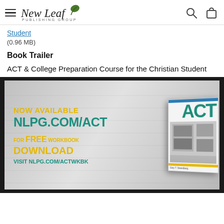New Leaf Publishing Group
Student
(0.96 MB)
Book Trailer
ACT & College Preparation Course for the Christian Student
[Figure (screenshot): Book trailer promotional image showing 'NOW AVAILABLE NLPG.COM/ACT' and 'FOR FREE WORKBOOK DOWNLOAD VISIT NLPG.COM/ACTWKBK' text in yellow and teal colors, alongside a 3D book cover for 'ACT & College Preparation Course for the Christian Student']